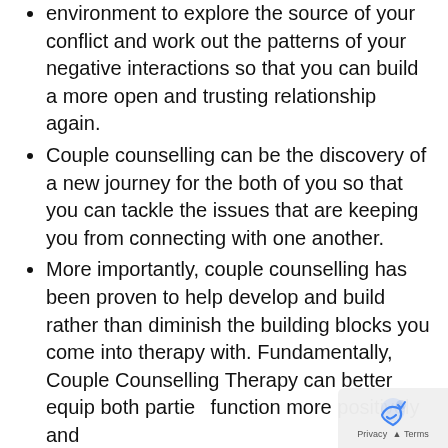environment to explore the source of your conflict and work out the patterns of your negative interactions so that you can build a more open and trusting relationship again.
Couple counselling can be the discovery of a new journey for the both of you so that you can tackle the issues that are keeping you from connecting with one another.
More importantly, couple counselling has been proven to help develop and build rather than diminish the building blocks you come into therapy with. Fundamentally, Couple Counselling Therapy can better equip both parties function more positively and